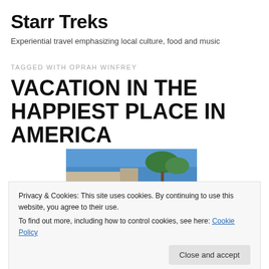Starr Treks
Experiential travel emphasizing local culture, food and music
TAGGED WITH OPRAH WINFREY
VACATION IN THE HAPPIEST PLACE IN AMERICA
[Figure (photo): Outdoor photo showing blue sky, trees and a building rooftop]
Privacy & Cookies: This site uses cookies. By continuing to use this website, you agree to their use.
To find out more, including how to control cookies, see here: Cookie Policy
[Figure (photo): Bottom partial photo showing stone pavement or ground]